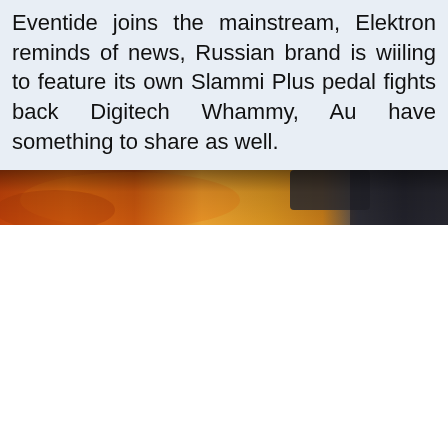Eventide joins the mainstream, Elektron reminds of news, Russian brand is wiiling to feature its own Slammi Plus pedal fights back Digitech Whammy, Au have something to share as well.
[Figure (photo): A close-up photo of guitar pedals/effects units on a surface, showing warm orange, amber and dark grey tones.]